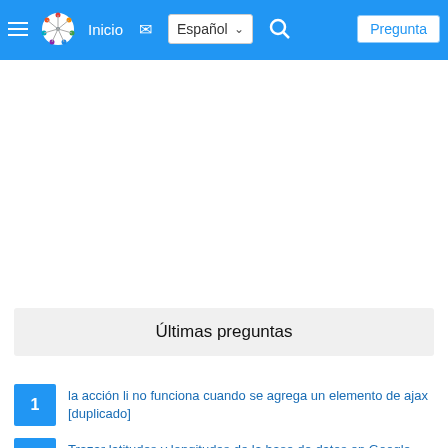Inicio | Español | Pregunta
Últimas preguntas
la acción li no funciona cuando se agrega un elemento de ajax [duplicado]
Trazar latitudes y longitudes de la base de datos en Google Maps v1